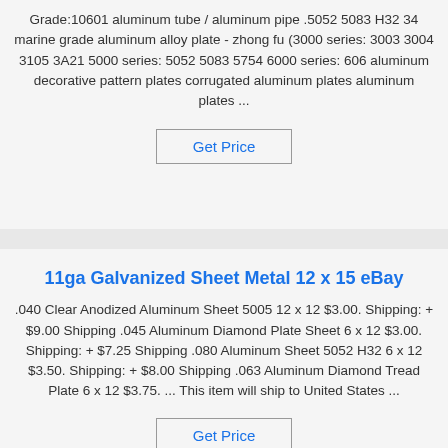Grade:10601 aluminum tube / aluminum pipe .5052 5083 H32 34 marine grade aluminum alloy plate - zhong fu (3000 series: 3003 3004 3105 3A21 5000 series: 5052 5083 5754 6000 series: 606 aluminum decorative pattern plates corrugated aluminum plates aluminum plates ...
Get Price
11ga Galvanized Sheet Metal 12 x 15 eBay
.040 Clear Anodized Aluminum Sheet 5005 12 x 12 $3.00. Shipping: + $9.00 Shipping .045 Aluminum Diamond Plate Sheet 6 x 12 $3.00. Shipping: + $7.25 Shipping .080 Aluminum Sheet 5052 H32 6 x 12 $3.50. Shipping: + $8.00 Shipping .063 Aluminum Diamond Tread Plate 6 x 12 $3.75. ... This item will ship to United States ...
Get Price